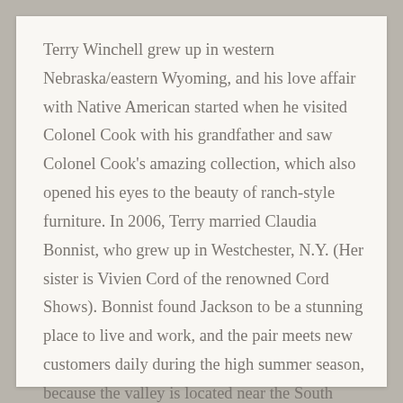Terry Winchell grew up in western Nebraska/eastern Wyoming, and his love affair with Native American started when he visited Colonel Cook with his grandfather and saw Colonel Cook's amazing collection, which also opened his eyes to the beauty of ranch-style furniture. In 2006, Terry married Claudia Bonnist, who grew up in Westchester, N.Y. (Her sister is Vivien Cord of the renowned Cord Shows). Bonnist found Jackson to be a stunning place to live and work, and the pair meets new customers daily during the high summer season, because the valley is located near the South Gate of Yellowstone National Park and Grand Teton National Park, some of the top tourist destinations in the world.